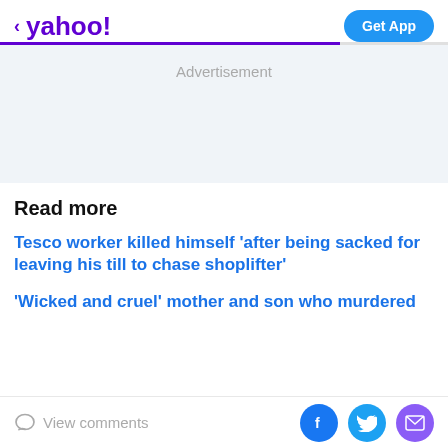< yahoo!   Get App
Advertisement
Read more
Tesco worker killed himself 'after being sacked for leaving his till to chase shoplifter'
'Wicked and cruel' mother and son who murdered
View comments